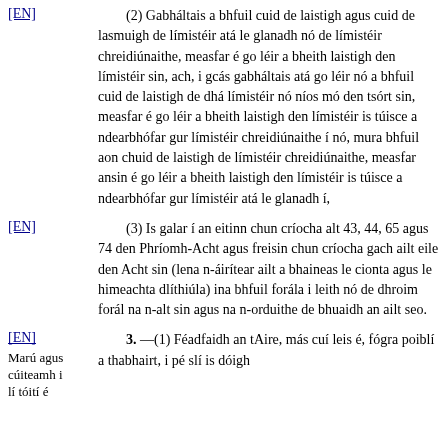(2) Gabháltais a bhfuil cuid de laistigh agus cuid de lasmuigh de límistéir atá le glanadh nó de límistéir chreidiúnaithe, measfar é go léir a bheith laistigh den límistéir sin, ach, i gcás gabháltais atá go léir nó a bhfuil cuid de laistigh de dhá límistéir nó níos mó den tsórt sin, measfar é go léir a bheith laistigh den límistéir is túisce a ndearbhófar gur límistéir chreidiúnaithe í nó, mura bhfuil aon chuid de laistigh de límistéir chreidiúnaithe, measfar ansin é go léir a bheith laistigh den límistéir is túisce a ndearbhófar gur límistéir atá le glanadh í,
(3) Is galar í an eitinn chun críocha alt 43, 44, 65 agus 74 den Phríomh-Acht agus freisin chun críocha gach ailt eile den Acht sin (lena n-áirítear ailt a bhaineas le cionta agus le himeachta dlíthiúla) ina bhfuil forála i leith nó de dhroim forál na n-alt sin agus na n-orduithe de bhuaidh an ailt seo.
3. —(1) Féadfaidh an tAire, más cuí leis é, fógra poiblí a thabhairt, i pé slí is dóigh